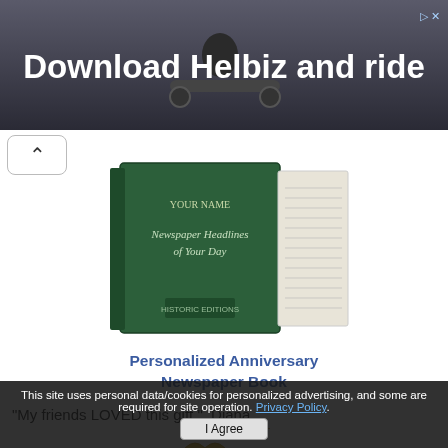[Figure (photo): Advertisement banner for Helbiz scooter app showing a person riding a scooter in a city, with text 'Download Helbiz and ride']
[Figure (photo): Personalized Anniversary Newspaper Book product image showing a dark green hardcover book with newspaper pages]
Personalized Anniversary Newspaper Book
"My friends LOVED this gift."  Diana
[Figure (photo): Gold heart-shaped pendant necklace with blue gemstones]
This site uses personal data/cookies for personalized advertising, and some are required for site operation. Privacy Policy.
I Agree